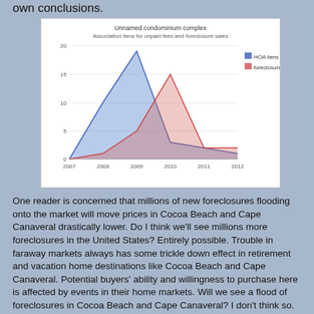own conclusions.
[Figure (area-chart): Unnamed condominium complex
Association liens for unpaid fees and foreclosure sales]
One reader is concerned that millions of new foreclosures flooding onto the market will move prices in Cocoa Beach and Cape Canaveral drastically lower. Do I think we'll see millions more foreclosures in the United States? Entirely possible. Trouble in faraway markets always has some trickle down effect in retirement and vacation home destinations like Cocoa Beach and Cape Canaveral. Potential buyers' ability and willingness to purchase here is affected by events in their home markets. Will we see a flood of foreclosures in Cocoa Beach and Cape Canaveral? I don't think so. As always, I could be wrong. Local Appraiser was hired ...